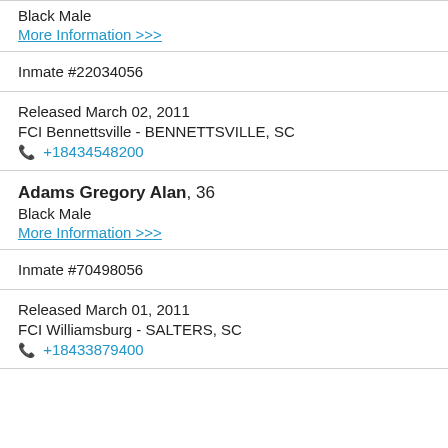Black Male
More Information >>>
Inmate #22034056
Released March 02, 2011
FCI Bennettsville - BENNETTSVILLE, SC
+18434548200
Adams Gregory Alan, 36
Black Male
More Information >>>
Inmate #70498056
Released March 01, 2011
FCI Williamsburg - SALTERS, SC
+18433879400